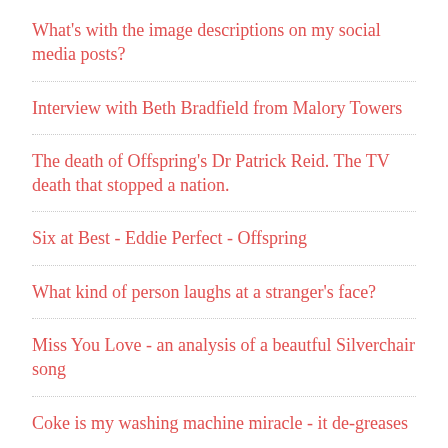What's with the image descriptions on my social media posts?
Interview with Beth Bradfield from Malory Towers
The death of Offspring's Dr Patrick Reid. The TV death that stopped a nation.
Six at Best - Eddie Perfect - Offspring
What kind of person laughs at a stranger's face?
Miss You Love - an analysis of a beautful Silverchair song
Coke is my washing machine miracle - it de-greases